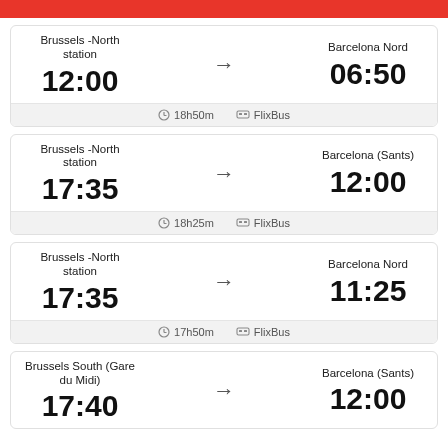| From | Arrow | To | Duration | Operator |
| --- | --- | --- | --- | --- |
| Brussels -North station | 12:00 | → | Barcelona Nord | 06:50 | 18h50m | FlixBus |
| Brussels -North station | 17:35 | → | Barcelona (Sants) | 12:00 | 18h25m | FlixBus |
| Brussels -North station | 17:35 | → | Barcelona Nord | 11:25 | 17h50m | FlixBus |
| Brussels South (Gare du Midi) | 17:40 | → | Barcelona (Sants) | 12:00 |  |  |